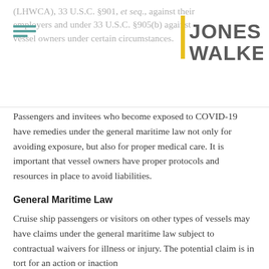(LHWCA), 33 U.S.C. §901, et seq., against their employers and under 33 U.S.C. §905(b) against vessel owners under certain circumstances.
[Figure (logo): Jones Walker law firm logo with teal horizontal lines on the left and bold gray text reading JONES WALKER with a yellow vertical bar accent]
Passengers and invitees who become exposed to COVID-19 have remedies under the general maritime law not only for avoiding exposure, but also for proper medical care. It is important that vessel owners have proper protocols and resources in place to avoid liabilities.
General Maritime Law
Cruise ship passengers or visitors on other types of vessels may have claims under the general maritime law subject to contractual waivers for illness or injury. The potential claim is in tort for an action or inaction